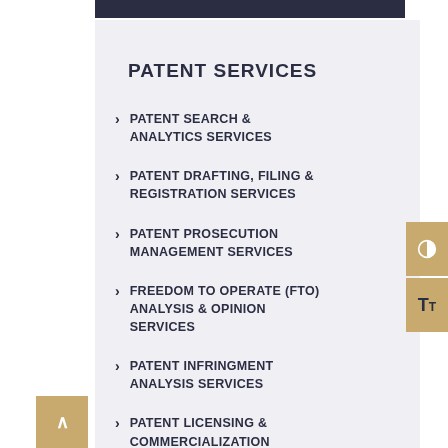PATENT SERVICES
PATENT SEARCH & ANALYTICS SERVICES
PATENT DRAFTING, FILING & REGISTRATION SERVICES
PATENT PROSECUTION MANAGEMENT SERVICES
FREEDOM TO OPERATE (FTO) ANALYSIS & OPINION SERVICES
PATENT INFRINGMENT ANALYSIS SERVICES
PATENT LICENSING & COMMERCIALIZATION SERVICES
PCT (INTERNATIONAL APPLICATION) FILING SERVICES
PATENT OPPOSITION, REVOCATION AND